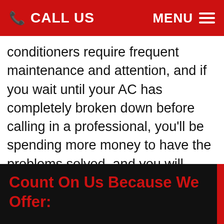CALL US  MENU
conditioners require frequent maintenance and attention, and if you wait until your AC has completely broken down before calling in a professional, you'll be spending more money to have the problems solved, and you will have been running an inefficient air conditioner, which will raise your energy costs. That's why calling us at the first sign of trouble for your air conditioning repair is recommended!
Count On Us Because We Offer: